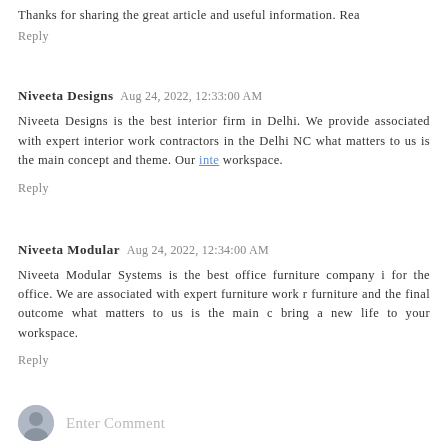Thanks for sharing the great article and useful information. Rea
Reply
Niveeta Designs  Aug 24, 2022, 12:33:00 AM
Niveeta Designs is the best interior firm in Delhi. We provide associated with expert interior work contractors in the Delhi NC what matters to us is the main concept and theme. Our inte workspace.
Reply
Niveeta Modular  Aug 24, 2022, 12:34:00 AM
Niveeta Modular Systems is the best office furniture company i for the office. We are associated with expert furniture work r furniture and the final outcome what matters to us is the main c bring a new life to your workspace.
Reply
Enter Comment